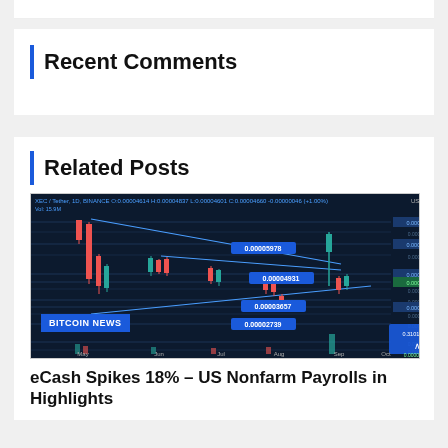Recent Comments
Related Posts
[Figure (continuous-plot): XEC/USDT candlestick chart on BINANCE, 1D timeframe, showing price action from May through October with descending channel lines and horizontal support/resistance levels labeled: 0.00006959, 0.00005978, 0.00005933, 0.00004931, 0.00004903, 0.00004660, 0.00003657, 0.00003601, 0.00002739, 0.00002000, 0.00000000, 0.00001500.]
eCash Spikes 18% – US Nonfarm Payrolls in Highlights